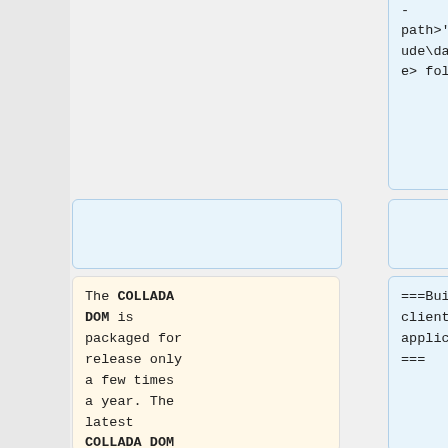-path>''\include\dae</code> folder.
The COLLADA DOM is packaged for release only a few times a year. The latest COLLADA DOM code, containing the most recent bug fixes and features, can be downloaded
===Building client applications===